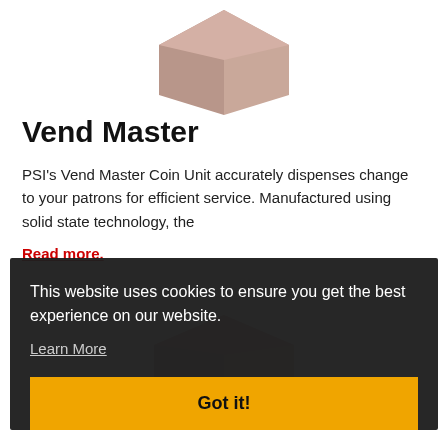[Figure (photo): Partial view of a pinkish-beige product unit (Vend Master Coin Unit) shown from above, cropped at the top of the page]
Vend Master
PSI's Vend Master Coin Unit accurately dispenses change to your patrons for efficient service. Manufactured using solid state technology, the
Read more.
[Figure (photo): Partial view of a second product unit partially visible behind the cookie consent overlay]
This website uses cookies to ensure you get the best experience on our website.
Learn More
Got it!